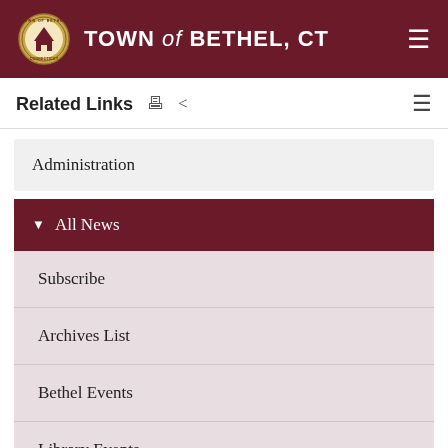TOWN of BETHEL, CT
Related Links
Administration
All News
Subscribe
Archives List
Bethel Events
Library Events